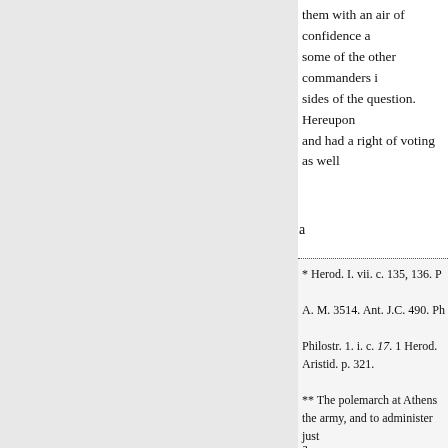them with an air of confidence a some of the other commanders i sides of the question. Hereupon and had a right of voting as well
a
* Herod. I. vii. c. 135, 136. P A. M. 3514. Ant. J.C. 490. Ph Philostr. 1. i. c. 17. 1 Herod. Aristid. p. 321. ** The polemarch at Athens the army, and to administer just
a
as the ten commanders. He very bands : that his single vote was t that he had it in his power by, on that liberty the Athenians enjo